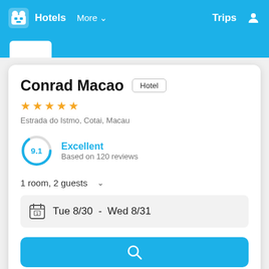Hotels  More  Trips
Conrad Macao  Hotel
★★★★★
Estrada do Istmo, Cotai, Macau
9.1  Excellent  Based on 120 reviews
1 room, 2 guests
Tue 8/30  -  Wed 8/31